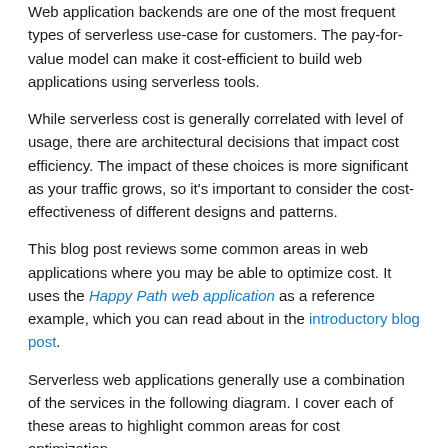Web application backends are one of the most frequent types of serverless use-case for customers. The pay-for-value model can make it cost-efficient to build web applications using serverless tools.
While serverless cost is generally correlated with level of usage, there are architectural decisions that impact cost efficiency. The impact of these choices is more significant as your traffic grows, so it's important to consider the cost-effectiveness of different designs and patterns.
This blog post reviews some common areas in web applications where you may be able to optimize cost. It uses the Happy Path web application as a reference example, which you can read about in the introductory blog post.
Serverless web applications generally use a combination of the services in the following diagram. I cover each of these areas to highlight common areas for cost optimization.
[Figure (other): AWS Cloud diagram box with dark header showing AWS logo and 'AWS Cloud' label, with dashed border inner area]